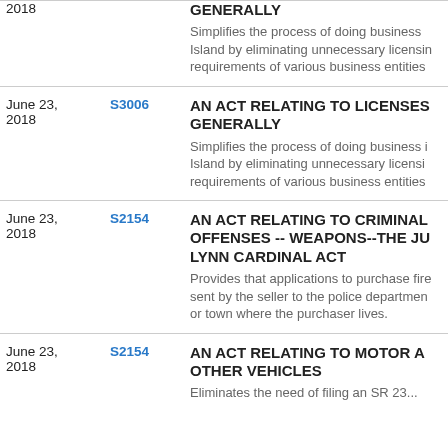| Date | Bill | Description |
| --- | --- | --- |
| 2018 |  | GENERALLY
Simplifies the process of doing business Island by eliminating unnecessary licensin requirements of various business entities |
| June 23, 2018 | S3006 | AN ACT RELATING TO LICENSES GENERALLY
Simplifies the process of doing business i Island by eliminating unnecessary licensi requirements of various business entities |
| June 23, 2018 | S2154 | AN ACT RELATING TO CRIMINAL OFFENSES -- WEAPONS--THE JU LYNN CARDINAL ACT
Provides that applications to purchase fire sent by the seller to the police departmen or town where the purchaser lives. |
| June 23, 2018 | S2154 | AN ACT RELATING TO MOTOR A OTHER VEHICLES
Eliminates the need of filing an SR 23... |